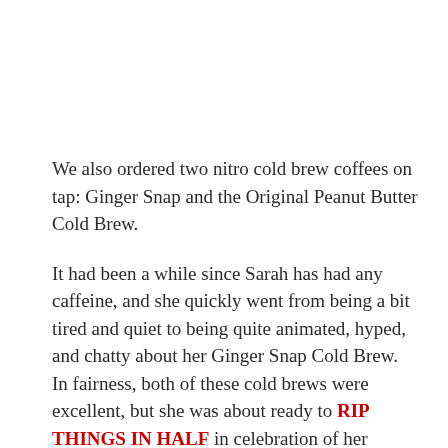We also ordered two nitro cold brew coffees on tap: Ginger Snap and the Original Peanut Butter Cold Brew.
It had been a while since Sarah has had any caffeine, and she quickly went from being a bit tired and quiet to being quite animated, hyped, and chatty about her Ginger Snap Cold Brew. In fairness, both of these cold brews were excellent, but she was about ready to RIP THINGS IN HALF in celebration of her coffee. (I also enjoyed my Peanut Butter Cold Brew, but we both preferred the Ginger Snap. As with the cakes, highly recommended, but allocate your budget to the cookies if forced to choose.)